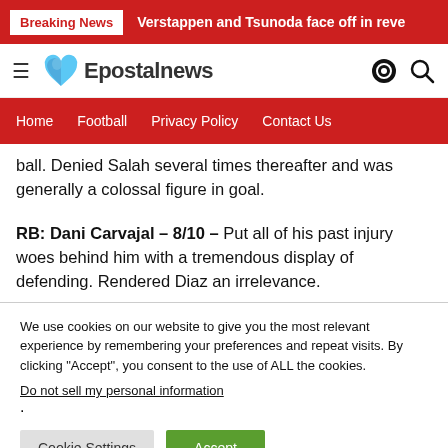Breaking News | Verstappen and Tsunoda face off in reve
[Figure (logo): Epostalnews logo with blue/teal heart icon]
Home  Football  Privacy Policy  Contact Us
ball. Denied Salah several times thereafter and was generally a colossal figure in goal.
RB: Dani Carvajal – 8/10 – Put all of his past injury woes behind him with a tremendous display of defending. Rendered Diaz an irrelevance.
We use cookies on our website to give you the most relevant experience by remembering your preferences and repeat visits. By clicking "Accept", you consent to the use of ALL the cookies.
Do not sell my personal information.